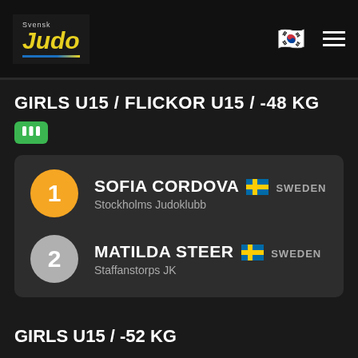Svensk Judo
GIRLS U15 / FLICKOR U15 / -48 KG
1 SOFIA CORDOVA SWEDEN Stockholms Judoklubb
2 MATILDA STEER SWEDEN Staffanstorps JK
GIRLS U15 / -52 KG